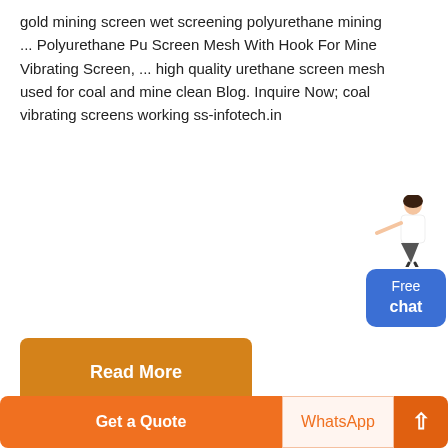gold mining screen wet screening polyurethane mining ... Polyurethane Pu Screen Mesh With Hook For Mine Vibrating Screen, ... high quality urethane screen mesh used for coal and mine clean Blog. Inquire Now; coal vibrating screens working ss-infotech.in
[Figure (illustration): Chat widget with female figure and blue Free chat button]
[Figure (other): Orange 'Read More' button]
[Figure (photo): Two industrial mining equipment photos side by side: left shows large conveyor/crane structures outdoors, right shows a blue cone crusher machine in a factory]
[Figure (other): Footer bar with orange 'Get a Quote' button, 'WhatsApp' button, and orange up-arrow button]